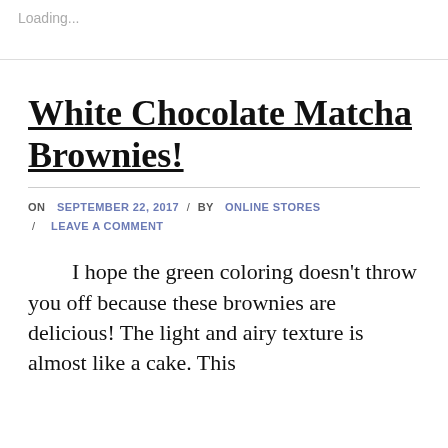Loading...
White Chocolate Matcha Brownies!
ON SEPTEMBER 22, 2017 / BY ONLINE STORES / LEAVE A COMMENT
I hope the green coloring doesn't throw you off because these brownies are delicious! The light and airy texture is almost like a cake. This